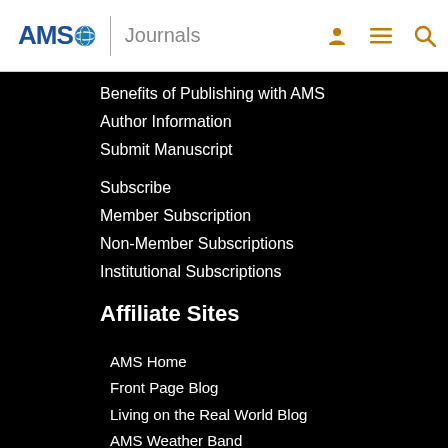AMS Journals
Benefits of Publishing with AMS
Author Information
Submit Manuscript
Subscribe
Member Subscription
Non-Member Subscriptions
Institutional Subscriptions
Affiliate Sites
AMS Home
Front Page Blog
Living on the Real World Blog
AMS Weather Band
Follow Us